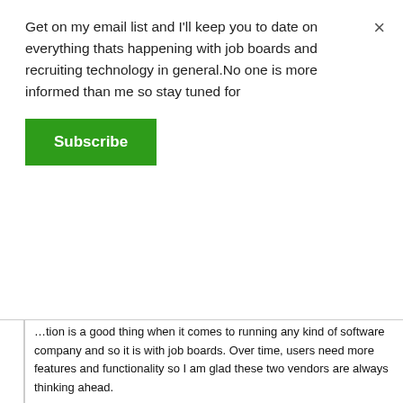Get on my email list and I'll keep you to date on everything thats happening with job boards and recruiting technology in general.No one is more informed than me so stay tuned for
Subscribe
...tion is a good thing when it comes to running any kind of software company and so it is with job boards. Over time, users need more features and functionality so I am glad these two vendors are always thinking ahead.
Combatting Spammers
I really like how Jobboard.io is letting owners combat spammers by setting filters so no one can create an employer account with a gmail account for example. Spammers (especially ones from India) have hassled me for years by creating fake employer accounts. Now the problem has been solved.